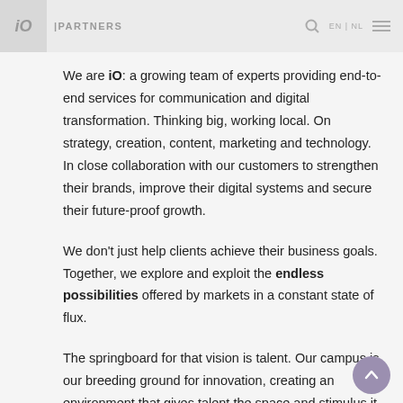iO | PARTNERS
iO
We are iO: a growing team of experts providing end-to-end services for communication and digital transformation. Thinking big, working local. On strategy, creation, content, marketing and technology. In close collaboration with our customers to strengthen their brands, improve their digital systems and secure their future-proof growth.
We don't just help clients achieve their business goals. Together, we explore and exploit the endless possibilities offered by markets in a constant state of flux.
The springboard for that vision is talent. Our campus is our breeding ground for innovation, creating an environment that gives talent the space and stimulus it